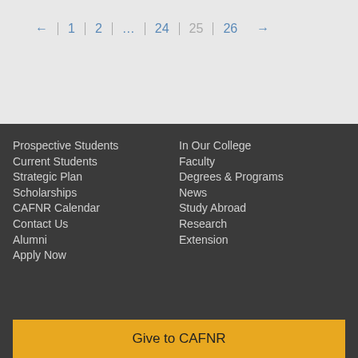← 1 2 … 24 25 26 →
Prospective Students
Current Students
Strategic Plan
Scholarships
CAFNR Calendar
Contact Us
Alumni
Apply Now
In Our College
Faculty
Degrees & Programs
News
Study Abroad
Research
Extension
Give to CAFNR